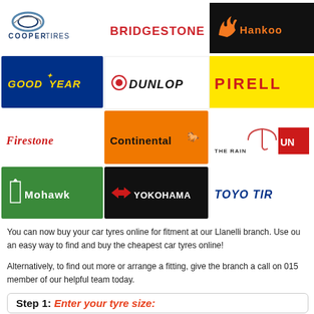[Figure (logo): Cooper Tires logo - blue text on white background]
[Figure (logo): Bridgestone logo - red text on white background]
[Figure (logo): Hankook logo - orange text on black background]
[Figure (logo): Goodyear logo - yellow italic text on blue background]
[Figure (logo): Dunlop logo - black italic text on white background]
[Figure (logo): Pirelli logo - red text on yellow background]
[Figure (logo): Firestone logo - red italic serif text on white background]
[Figure (logo): Continental logo - black text on orange background]
[Figure (logo): The Rain Tyre logo with umbrella icon on white background]
[Figure (logo): Mohawk logo - white text with torch icon on green background]
[Figure (logo): Yokohama logo - white text with arrows on black background]
[Figure (logo): Toyo Tires logo - blue italic text on white background]
You can now buy your car tyres online for fitment at our Llanelli branch. Use ou an easy way to find and buy the cheapest car tyres online!
Alternatively, to find out more or arrange a fitting, give the branch a call on 015 member of our helpful team today.
Step 1: Enter your tyre size: